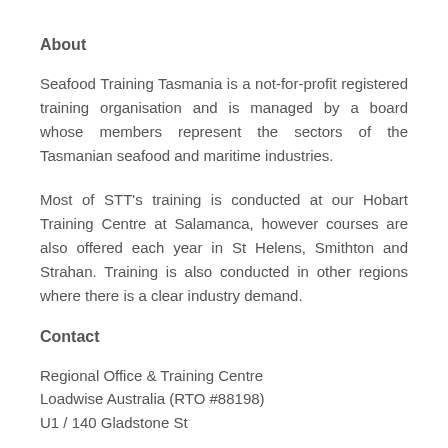About
Seafood Training Tasmania is a not-for-profit registered training organisation and is managed by a board whose members represent the sectors of the Tasmanian seafood and maritime industries.
Most of STT's training is conducted at our Hobart Training Centre at Salamanca, however courses are also offered each year in St Helens, Smithton and Strahan. Training is also conducted in other regions where there is a clear industry demand.
Contact
Regional Office & Training Centre
Loadwise Australia (RTO #88198)
U1 / 140 Gladstone St